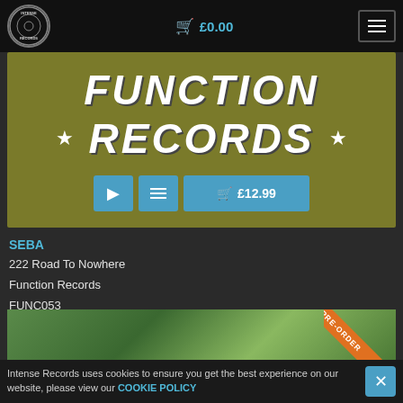£0.00
[Figure (logo): Intense Records circular logo in top-left navbar]
[Figure (illustration): Function Records album banner with olive/army green background, white bold italic text reading FUNCTION RECORDS with stars]
SEBA
222 Road To Nowhere
Function Records
FUNC053
£10.83 (£12.99 incl. VAT)
Pre-order – 16/09/2022
[Figure (photo): Partially visible album artwork showing blurred green foliage with PRE-ORDER diagonal orange ribbon badge in top-right corner]
Intense Records uses cookies to ensure you get the best experience on our website, please view our COOKIE POLICY